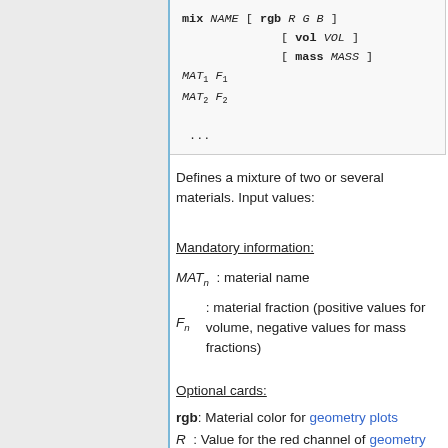Defines a mixture of two or several materials. Input values:
Mandatory information:
MAT_n : material name
F_n : material fraction (positive values for volume, negative values for mass fractions)
Optional cards:
rgb: Material color for geometry plots
R : Value for the red channel of geometry plots (between 0 and 255)